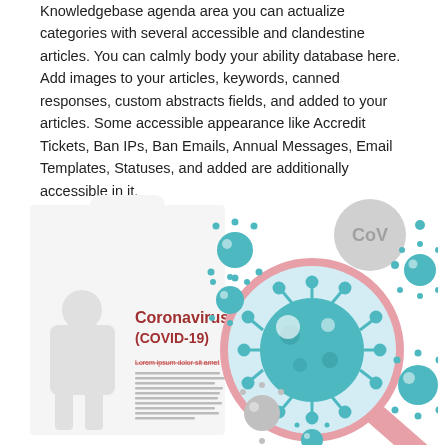Knowledgebase agenda area you can actualize categories with several accessible and clandestine articles. You can calmly body your ability database here. Add images to your articles, keywords, canned responses, custom abstracts fields, and added to your articles. Some accessible appearance like Accredit Tickets, Ban IPs, Ban Emails, Annual Messages, Email Templates, Statuses, and added are additionally accessible in it.
[Figure (illustration): Coronavirus (COVID-19) illustration showing a magnifying glass examining a teal-colored coronavirus particle, with several smaller virus particles and a grey CoV-labeled circle floating around. Left side shows a document/article mockup with 'Coronavirus (COVID-19)' heading and Lorem ipsum placeholder text.]